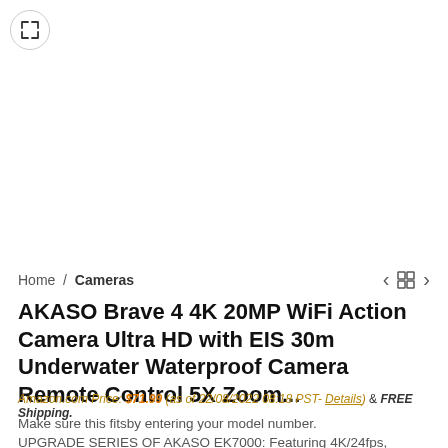[Figure (other): Expand/fullscreen button icon — circle with diagonal arrows]
Home / Cameras
AKASO Brave 4 4K 20MP WiFi Action Camera Ultra HD with EIS 30m Underwater Waterproof Camera Remote Control 5X Zoom...
Amazon.com Price: $71.99 (as of 22/08/2022 08:18 PST- Details) & FREE Shipping.
Make sure this fitsby entering your model number.
UPGRADE SERIES OF AKASO EK7000: Featuring 4K/24fps, 2K/30fps